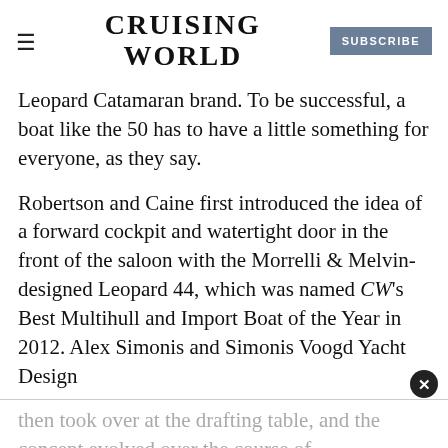CRUISING WORLD | SUBSCRIBE
Leopard Catamaran brand. To be successful, a boat like the 50 has to have a little something for everyone, as they say.
Robertson and Caine first introduced the idea of a forward cockpit and watertight door in the front of the saloon with the Morrelli & Melvin-designed Leopard 44, which was named CW's Best Multihull and Import Boat of the Year in 2012. Alex Simonis and Simonis Voogd Yacht Design
then took over at the drafting table, and the concept evolved over the course of